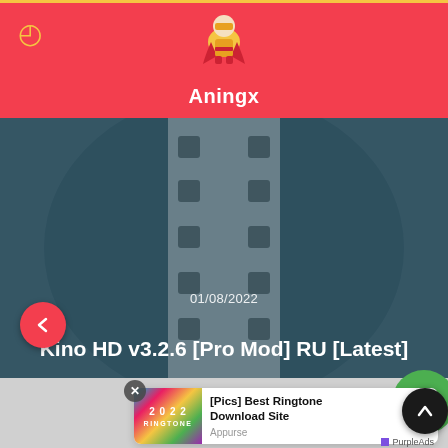Aningx
[Figure (screenshot): Hero image showing film reel graphic with blurred dark teal background]
01/08/2022
Kino HD v3.2.6 [Pro Mod] RU [Latest]
[Figure (infographic): Advertisement card: [Pics] Best Ringtone Download Site, by Appurse, PurpleAds. Shows colorful ringtone 2022 image.]
[Pics] Best Ringtone Download Site
Appurse
PurpleAds